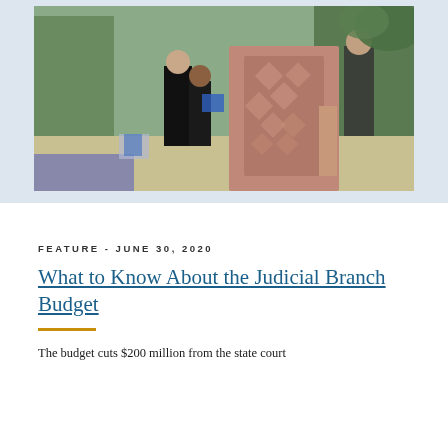[Figure (photo): Outdoor street scene showing people walking on a sidewalk. A person in a brown/pink patterned sleeveless top is in the foreground viewed from behind, and other pedestrians in dark clothing are visible further ahead. Trees and street infrastructure visible in background.]
FEATURE - JUNE 30, 2020
What to Know About the Judicial Branch Budget
The budget cuts $200 million from the state court